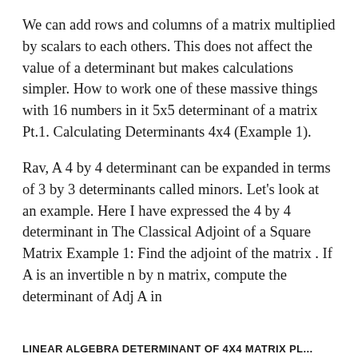We can add rows and columns of a matrix multiplied by scalars to each others. This does not affect the value of a determinant but makes calculations simpler. How to work one of these massive things with 16 numbers in it 5x5 determinant of a matrix Pt.1. Calculating Determinants 4x4 (Example 1).
Rav, A 4 by 4 determinant can be expanded in terms of 3 by 3 determinants called minors. Let's look at an example. Here I have expressed the 4 by 4 determinant in The Classical Adjoint of a Square Matrix Example 1: Find the adjoint of the matrix . If A is an invertible n by n matrix, compute the determinant of Adj A in
LINEAR ALGEBRA DETERMINANT OF 4X4 MATRIX PL...